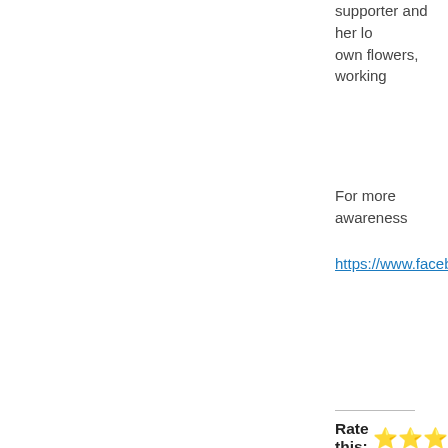supporter and her lo... own flowers, working...
For more awareness
https://www.facebook...
Rate this: ★★★★★
Wanna Pass this arou...
Share
Like
3 bloggers like this.
Posted in Ageing, Agr... Medical Cannabis, Am... cannabhs, article xviii... attention, baby boome...